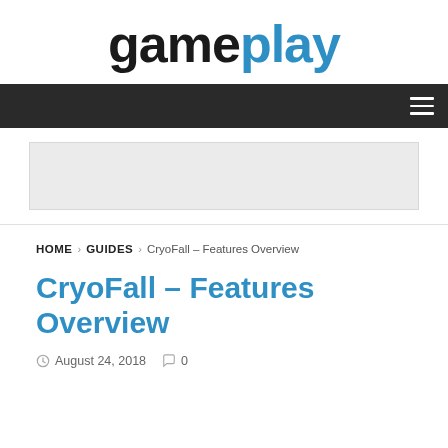gameplay
HOME > GUIDES > CryoFall – Features Overview
CryoFall – Features Overview
August 24, 2018  0